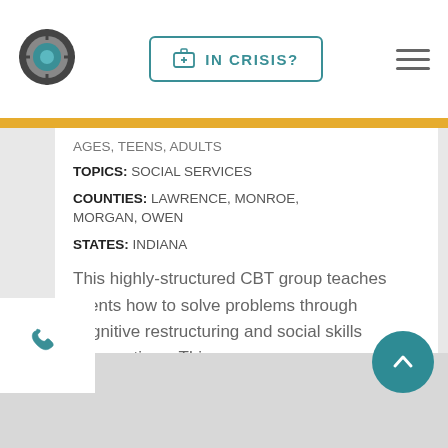[Figure (logo): Circular logo with teal center and dark outer ring]
[Figure (other): IN CRISIS? button with medical bag icon, teal border]
[Figure (other): Hamburger menu icon, three horizontal lines]
AGES, TEENS, ADULTS
TOPICS: SOCIAL SERVICES
COUNTIES: LAWRENCE, MONROE, MORGAN, OWEN
STATES: INDIANA
This highly-structured CBT group teaches clients how to solve problems through cognitive restructuring and social skills interventions. This program ...